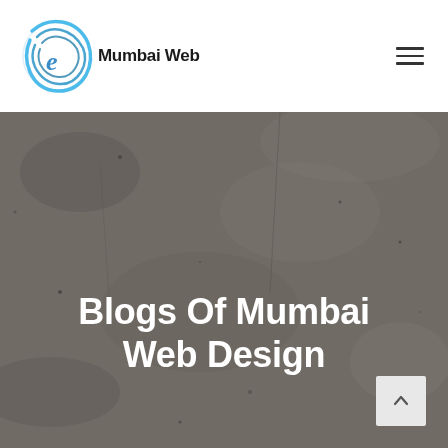[Figure (logo): Mumbai Web circular logo with blue swirl lines and company name 'Mumbai Web' in bold black text]
[Figure (other): Hamburger menu icon (three horizontal lines) in top right header]
[Figure (photo): Dark grey concrete textured background hero section]
Blogs Of Mumbai Web Design
[Figure (other): Scroll-to-top button with upward chevron arrow, light grey square button in bottom right]